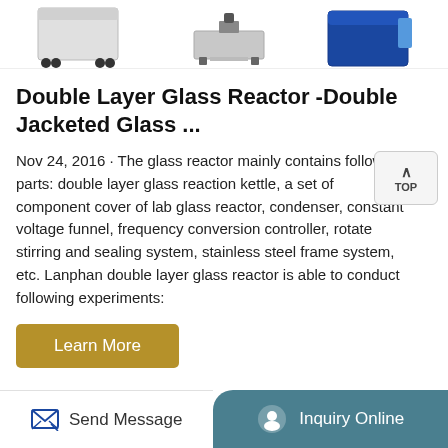[Figure (photo): Three product images of lab equipment shown at top: a white cabinet on wheels (left), a metal platform scale (center), and a blue container/cooler (right).]
Double Layer Glass Reactor -Double Jacketed Glass ...
Nov 24, 2016 · The glass reactor mainly contains following parts: double layer glass reaction kettle, a set of component cover of lab glass reactor, condenser, constant voltage funnel, frequency conversion controller, rotate stirring and sealing system, stainless steel frame system, etc. Lanphan double layer glass reactor is able to conduct following experiments:
Learn More
Send Message    Inquiry Online